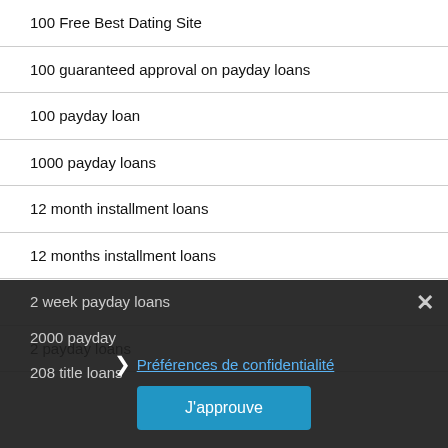100 Free Best Dating Site
100 guaranteed approval on payday loans
100 payday loan
1000 payday loans
12 month installment loans
12 months installment loans
2
2 payday loans
2 week payday loans
2000 payday
208 title loans
Préférences de confidentialité
J'approuve